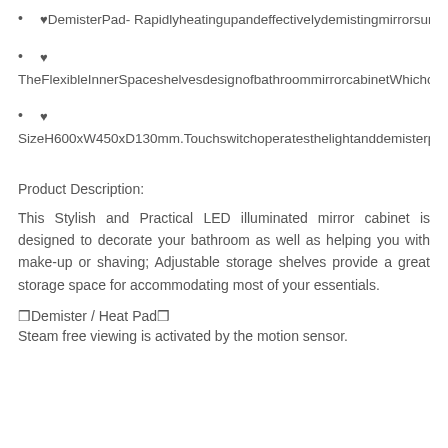♥DemisterPad- Rapidlyheatingupandeffectivelydemistingmirrorsurface.Feelfreetoenjo
♥ TheFlexibleInnerSpaceshelvesdesignofbathroommirrorcabinetWhichca
♥ SizeH600xW450xD130mm.Touchswitchoperatesthelightanddemisterpa
Product Description:
This Stylish and Practical LED illuminated mirror cabinet is designed to decorate your bathroom as well as helping you with make-up or shaving; Adjustable storage shelves provide a great storage space for accommodating most of your essentials.
❒Demister / Heat Pad❒
Steam free viewing is activated by the motion sensor.